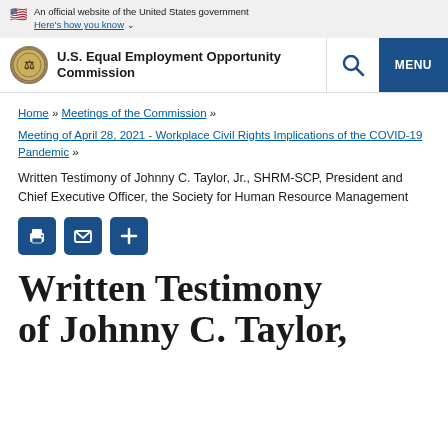An official website of the United States government Here's how you know
U.S. Equal Employment Opportunity Commission
Home » Meetings of the Commission »
Meeting of April 28, 2021 - Workplace Civil Rights Implications of the COVID-19 Pandemic »
Written Testimony of Johnny C. Taylor, Jr., SHRM-SCP, President and Chief Executive Officer, the Society for Human Resource Management
[Figure (infographic): Three blue square icon buttons: print, email, and plus/share]
Written Testimony of Johnny C. Taylor,